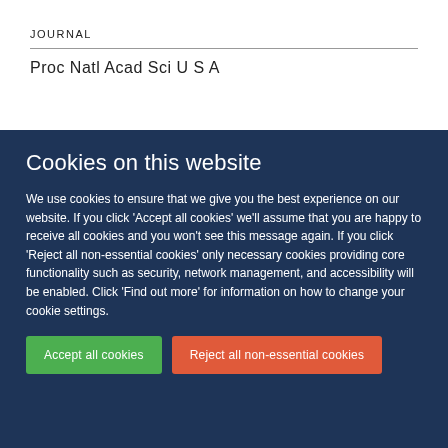JOURNAL
Proc Natl Acad Sci U S A
Cookies on this website
We use cookies to ensure that we give you the best experience on our website. If you click 'Accept all cookies' we'll assume that you are happy to receive all cookies and you won't see this message again. If you click 'Reject all non-essential cookies' only necessary cookies providing core functionality such as security, network management, and accessibility will be enabled. Click 'Find out more' for information on how to change your cookie settings.
Accept all cookies
Reject all non-essential cookies